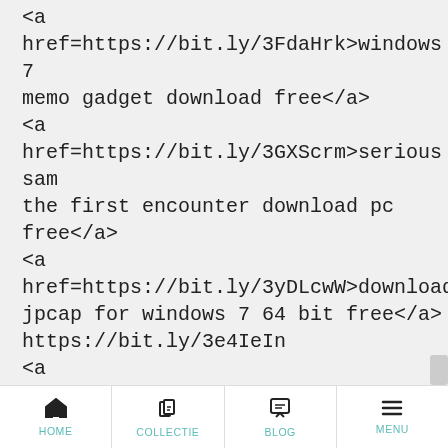<a href=https://bit.ly/3FdaHrk>windows 7 memo gadget download free</a> <a href=https://bit.ly/3GXScrm>serious sam the first encounter download pc free</a> <a href=https://bit.ly/3yDLcwW>download jpcap for windows 7 64 bit free</a> https://bit.ly/3e4IeIn <a href=https://sites.google.com/view/l75urr7q7 download for windows 8.1 pc free</a> <a href=https://bit.ly/3GVjmzk>tank 1990 game download for windows 7 free</a> <a href=https://bit.ly/3GUywVr>window 10 features for pc download free</a>
HOME | COLLECTIE | BLOG | MENU